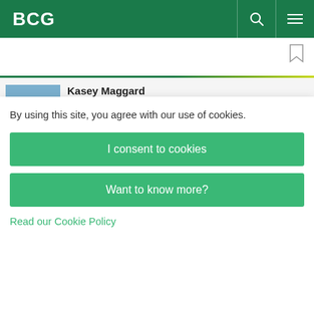BCG
[Figure (photo): Photo of Kasey Maggard]
Kasey Maggard
Global Practice Management Senior Director, Global Advantage practice
New York
[Figure (illustration): Email and LinkedIn social icons]
[Figure (photo): Photo of Cecilia Aureliano (partially visible)]
Cecilia Aureliano
By using this site, you agree with our use of cookies.
I consent to cookies
Want to know more?
Read our Cookie Policy